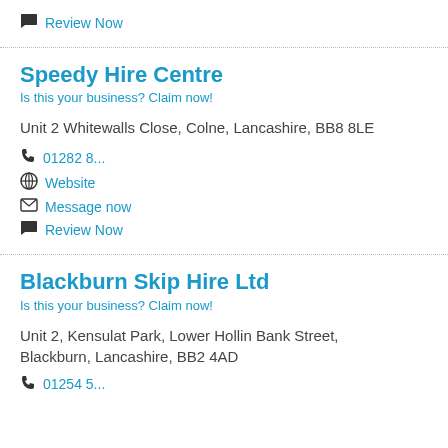Review Now
Speedy Hire Centre
Is this your business? Claim now!
Unit 2 Whitewalls Close, Colne, Lancashire, BB8 8LE
01282 8...
Website
Message now
Review Now
Blackburn Skip Hire Ltd
Is this your business? Claim now!
Unit 2, Kensulat Park, Lower Hollin Bank Street, Blackburn, Lancashire, BB2 4AD
01254 5...